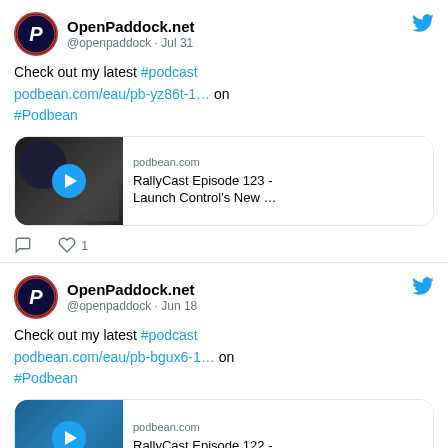[Figure (screenshot): Tweet from OpenPaddock.net (@openpaddock) dated Jul 31. Text: Check out my latest #podcast podbean.com/eau/pb-yz86t-1… on #Podbean. Includes a media card for podbean.com showing RallyCast Episode 123 - Launch Control's New …. 1 like shown.]
[Figure (screenshot): Tweet from OpenPaddock.net (@openpaddock) dated Jun 18. Text: Check out my latest #podcast podbean.com/eau/pb-bgux6-1… on #Podbean. Includes a media card for podbean.com showing RallyCast Episode 122 - (cut off).]